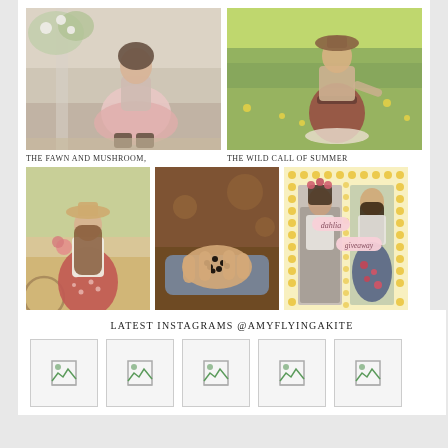[Figure (photo): Girl in pink dress and boots sitting on steps with flowers]
[Figure (photo): Girl in red/brown floral dress standing in a sunny field]
THE FAWN AND MUSHROOM,
THE WILD CALL OF SUMMER
[Figure (photo): Girl in hat and polka dot skirt holding flowers, standing with bicycle]
[Figure (photo): Hand holding small dark berries/seeds outdoors]
[Figure (photo): Dahlia giveaway collage with two young women and decorative text]
A skirt made up of tiny circles,
THE SQUIRREL HIGHWAY AND AUTUMN.
GIVEAWAY: Dahlia
LATEST INSTAGRAMS @AMYFLYINGAKITE
[Figure (photo): Instagram photo placeholder 1]
[Figure (photo): Instagram photo placeholder 2]
[Figure (photo): Instagram photo placeholder 3]
[Figure (photo): Instagram photo placeholder 4]
[Figure (photo): Instagram photo placeholder 5]